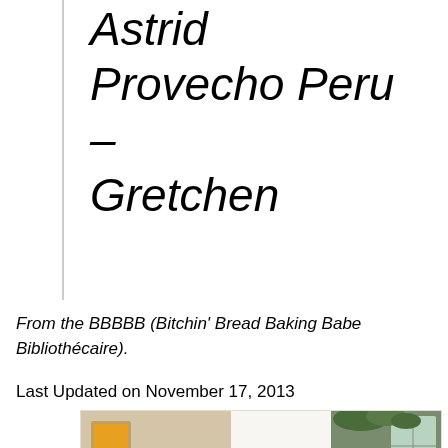Astrid Provecho Peru – Gretchen
From the BBBBB (Bitchin' Bread Baking Babe Bibliothécaire).
Last Updated on November 17, 2013
[Figure (other): Advertisement banner showing bed linens and bedroom scene with $0 price and SHOP button]